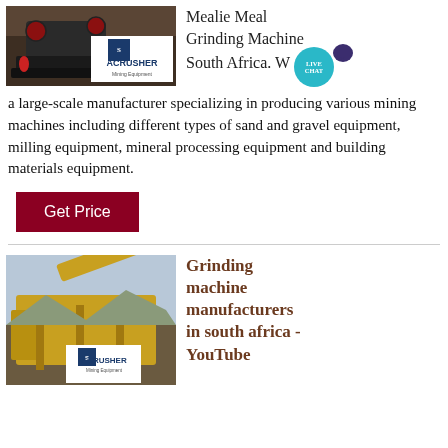[Figure (photo): Mining crusher machine with ACRUSHER Mining Equipment logo overlay]
Mealie Meal Grinding Machine South Africa. We are a large-scale manufacturer specializing in producing various mining machines including different types of sand and gravel equipment, milling equipment, mineral processing equipment and building materials equipment.
Get Price
[Figure (photo): Large yellow mining/grinding machine equipment outdoors with ACRUSHER logo overlay]
Grinding machine manufacturers in south africa - YouTube